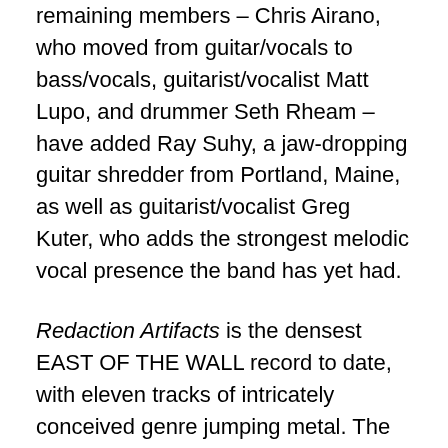remaining members – Chris Airano, who moved from guitar/vocals to bass/vocals, guitarist/vocalist Matt Lupo, and drummer Seth Rheam – have added Ray Suhy, a jaw-dropping guitar shredder from Portland, Maine, as well as guitarist/vocalist Greg Kuter, who adds the strongest melodic vocal presence the band has yet had.
Redaction Artifacts is the densest EAST OF THE WALL record to date, with eleven tracks of intricately conceived genre jumping metal. The album was tracked by Eric Rachel at Trax East, and Todd Hutchinsen at Acadia Recording, and mixed by Eric Rachel at Trax East. In addition to the digital and CD versions through Translation Loss, Science Of Silence will be releasing the record on vinyl as a double LP.
Redaction Artifacts tracklisting:
1. Solving The Correspondence Problem